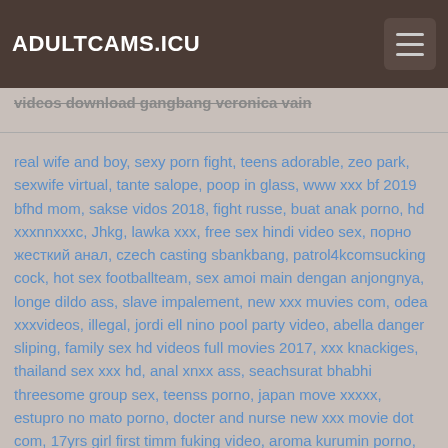ADULTCAMS.ICU
videos download gangbang veronica vain
real wife and boy, sexy porn fight, teens adorable, zeo park, sexwife virtual, tante salope, poop in glass, www xxx bf 2019 bfhd mom, sakse vidos 2018, fight russe, buat anak porno, hd xxxnnxxxc, Jhkg, lawka xxx, free sex hindi video sex, порно жесткий анал, czech casting sbankbang, patrol4kcomsucking cock, hot sex footballteam, sex amoi main dengan anjongnya, longe dildo ass, slave impalement, new xxx muvies com, odea xxxvideos, illegal, jordi ell nino pool party video, abella danger sliping, family sex hd videos full movies 2017, xxx knackiges, thailand sex xxx hd, anal xnxx ass, seachsurat bhabhi threesome group sex, teenss porno, japan move xxxxx, estupro no mato porno, docter and nurse new xxx movie dot com, 17yrs girl first timm fuking video, aroma kurumin porno, hardcore punk, simone and not her dad in